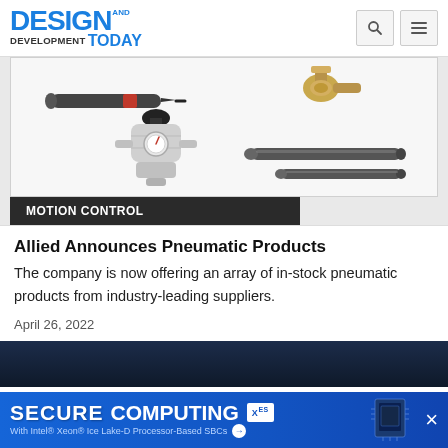DESIGN AND DEVELOPMENT TODAY
[Figure (photo): Pneumatic products including a torque screwdriver with red band, a brass fitting/valve, a pressure regulator valve, and two cylindrical rods/pins on a white background. Below the image is a dark banner with text MOTION CONTROL.]
Allied Announces Pneumatic Products
The company is now offering an array of in-stock pneumatic products from industry-leading suppliers.
April 26, 2022
[Figure (screenshot): Partial view of a dark blue banner/next article preview area at the bottom.]
[Figure (infographic): Blue advertisement banner reading SECURE COMPUTING with XES logo and subtitle: With Intel® Xeon® Ice Lake-D Processor-Based SBCs, with a close X button on the right.]